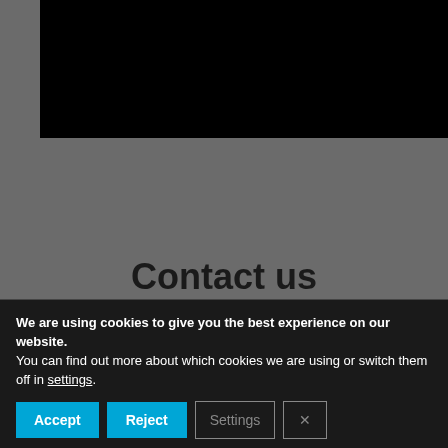[Figure (screenshot): Black video player area]
Transcript
Contact us
We are using cookies to give you the best experience on our website.
You can find out more about which cookies we are using or switch them off in settings.
Accept
Reject
Settings
×